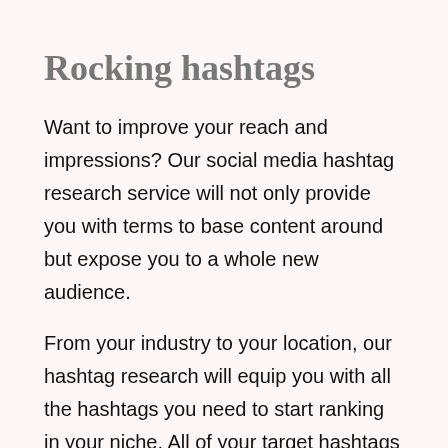Rocking hashtags
Want to improve your reach and impressions? Our social media hashtag research service will not only provide you with terms to base content around but expose you to a whole new audience.
From your industry to your location, our hashtag research will equip you with all the hashtags you need to start ranking in your niche. All of your target hashtags will then be split into different lists based on our recommendations, allowing you to